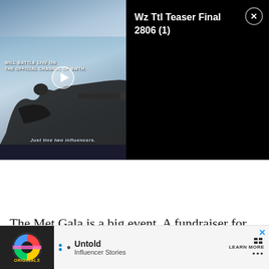[Figure (screenshot): Video thumbnail showing a soldier with a sniper rifle against a sky background, with a play button overlay and text overlay reading 'WILL BATTLE LIVE ON THE OFFICIAL CHANNEL OF BWTH']
Wz Ttl Teaser Final 2806 (1)
The Met Gala is a big event. A fundraiser for the Metro...ot of money...de,
[Figure (infographic): Advertisement bar showing Originals logo, Untold Influencer Stories, and Learn More button with close X button]